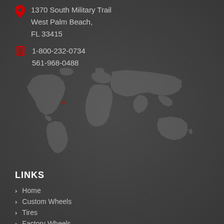1370 South Military Trail West Palm Beach, FL 33415
1-800-232-0734
561-968-0488
[Figure (map): World map silhouette in dark grey with a red location marker pin positioned approximately over North America/eastern USA region]
LINKS
Home
Custom Wheels
Tires
Factory Wheels
Testimonials
Search By Vehicle
Custom Wheel Buyers guide
Contact Us